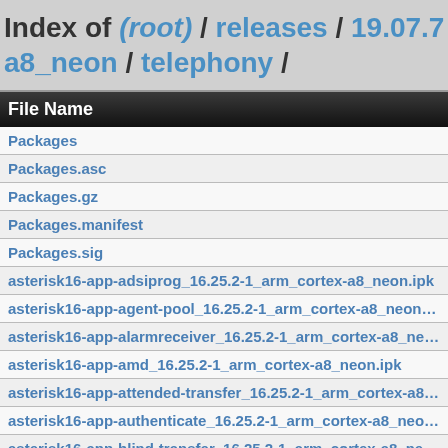Index of (root) / releases / 19.07.7 / packages-arm_cortex-a8_neon / telephony /
| File Name |
| --- |
| Packages |
| Packages.asc |
| Packages.gz |
| Packages.manifest |
| Packages.sig |
| asterisk16-app-adsiprog_16.25.2-1_arm_cortex-a8_neon.ipk |
| asterisk16-app-agent-pool_16.25.2-1_arm_cortex-a8_neon.ipk |
| asterisk16-app-alarmreceiver_16.25.2-1_arm_cortex-a8_neon.ipk |
| asterisk16-app-amd_16.25.2-1_arm_cortex-a8_neon.ipk |
| asterisk16-app-attended-transfer_16.25.2-1_arm_cortex-a8_neon.ipk |
| asterisk16-app-authenticate_16.25.2-1_arm_cortex-a8_neon.ipk |
| asterisk16-app-blind-transfer_16.25.2-1_arm_cortex-a8_neon.ipk |
| asterisk16-app-bridgeaddchan_16.25.2-1_arm_cortex-a8_neon.ipk |
| asterisk16-app-bridgewait_16.25.2-1_arm_cortex-a8_neon.ipk |